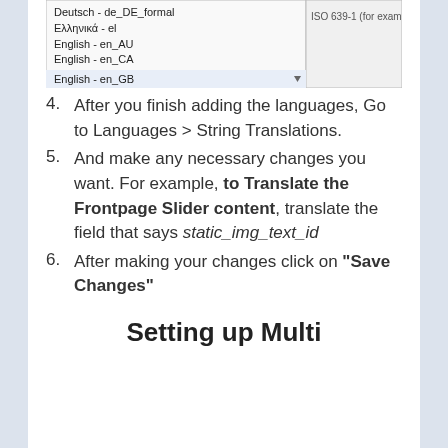[Figure (screenshot): Dropdown list showing language options: Deutsch - de_DE_formal, Ελληνικά - el, English - en_AU, English - en_CA, English - en_GB, with partial text 'ISO 639-1 (for example: e' visible on the right]
4. After you finish adding the languages, Go to Languages > String Translations.
5. And make any necessary changes you want. For example, to Translate the Frontpage Slider content, translate the field that says static_img_text_id
6. After making your changes click on "Save Changes"
Setting up Multi